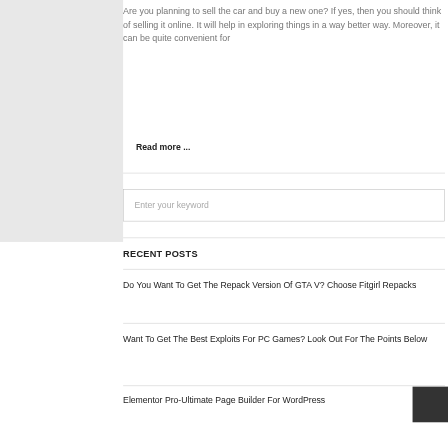Are you planning to sell the car and buy a new one? If yes, then you should think of selling it online. It will help in exploring things in a way better way. Moreover, it can be quite convenient for
Read more ...
Enter your keyword
RECENT POSTS
Do You Want To Get The Repack Version Of GTA V? Choose Fitgirl Repacks
Want To Get The Best Exploits For PC Games? Look Out For The Points Below
Elementor Pro-Ultimate Page Builder For WordPress